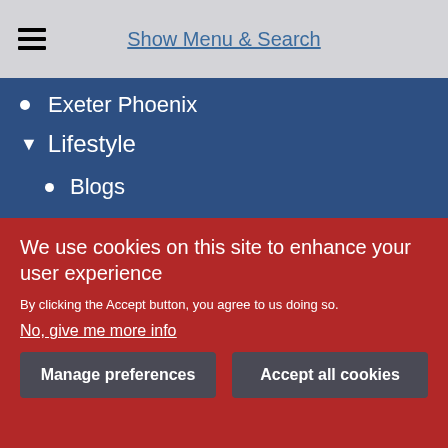Show Menu & Search
Exeter Phoenix
Lifestyle
Blogs
Charities
Education
Entertainment & Reviews
Family Life
Food & Drink
We use cookies on this site to enhance your user experience
By clicking the Accept button, you agree to us doing so.
No, give me more info
Manage preferences
Accept all cookies